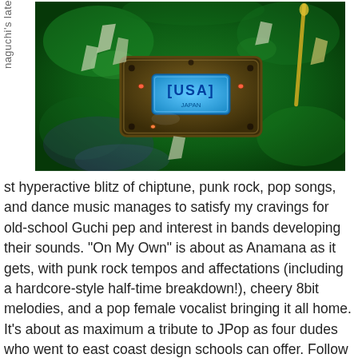naguchi's late
[Figure (photo): Overhead/top-down photo of what appears to be a decorative wooden box or pinball-style device with a blue USA label in the center, surrounded by green moss-like material, crystal-like decorations, and colorful lighting elements.]
st hyperactive blitz of chiptune, punk rock, pop songs, and dance music manages to satisfy my cravings for old-school Guchi pep and interest in bands developing their sounds. “On My Own” is about as Anamana as it gets, with punk rock tempos and affectations (including a hardcore-style half-time breakdown!), cheery 8bit melodies, and a pop female vocalist bringing it all home. It’s about as maximum a tribute to JPop as four dudes who went to east coast design schools can offer. Follow up track/b In